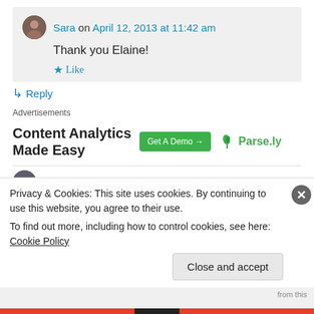Sara on April 12, 2013 at 11:42 am
Thank you Elaine!
★ Like
↳ Reply
Advertisements
[Figure (other): Parse.ly advertisement banner: 'Content Analytics Made Easy' with a green 'Get A Demo →' button and Parse.ly logo]
CorinaThorne on April 11, 2013 at 8:48 am
Privacy & Cookies: This site uses cookies. By continuing to use this website, you agree to their use.
To find out more, including how to control cookies, see here: Cookie Policy
Close and accept